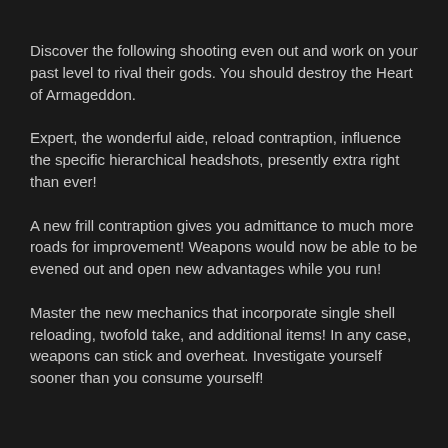Discover the following shooting even out and work on your past level to rival their gods. You should destroy the Heart of Armageddon.
Expert, the wonderful aide, reload contraption, influence the specific hierarchical headshots, presently extra right than ever!
A new frill contraption gives you admittance to much more roads for improvement! Weapons would now be able to be evened out and open new advantages while you run!
Master the new mechanics that incorporate single shell reloading, twofold take, and additional items! In any case, weapons can stick and overheat. Investigate yourself sooner than you consume yourself!